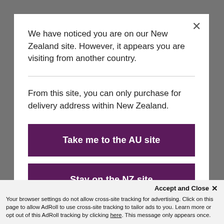[Figure (screenshot): Background blurred photo of jewelry/rings, dimmed by overlay]
We have noticed you are on our New Zealand site. However, it appears you are visiting from another country.
From this site, you can only purchase for delivery address within New Zealand.
Take me to the AU site
Stay on the NZ site
Accept and Close ×
Your browser settings do not allow cross-site tracking for advertising. Click on this page to allow AdRoll to use cross-site tracking to tailor ads to you. Learn more or opt out of this AdRoll tracking by clicking here. This message only appears once.